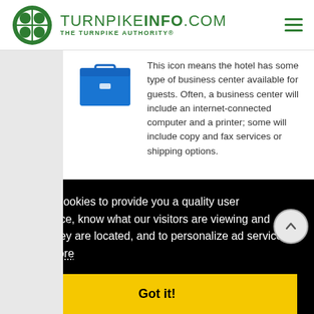TURNPIKEINFO.COM — THE TURNPIKE AUTHORITY®
[Figure (illustration): Business center briefcase/folder icon in blue]
This icon means the hotel has some type of business center available for guests. Often, a business center will include an internet-connected computer and a printer; some will include copy and fax services or shipping options.
Pool / Pool Area
[Figure (illustration): Pool ladder icon in blue]
This icon means the hotel has a pool on
We use cookies to provide you a quality user experience, know what our visitors are viewing and where they are located, and to personalize ad services.  Learn more
Got it!